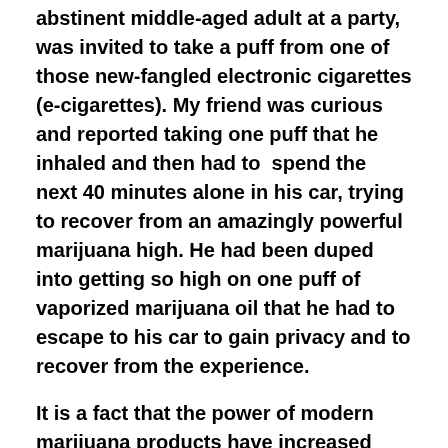abstinent middle-aged adult at a party, was invited to take a puff from one of those new-fangled electronic cigarettes (e-cigarettes). My friend was curious and reported taking one puff that he inhaled and then had to  spend the next 40 minutes alone in his car, trying to recover from an amazingly powerful marijuana high. He had been duped into getting so high on one puff of vaporized marijuana oil that he had to escape to his car to gain privacy and to recover from the experience.
It is a fact that the power of modern marijuana products have increased dramatically.
https://www.ncbi.nlm.nih.gov/pmc/articles/PMC4987131/
I was recently in a gathering where a younger adult